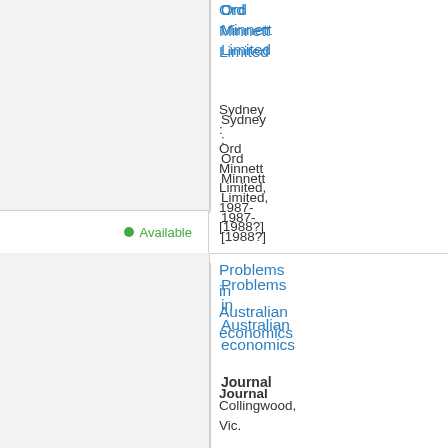Ord Minnett Limited
Sydney : Ord Minnett Limited, 1987-[1988?]
Journal
Available
Problems in Australian economics
Collingwood, Vic. : VCTA Publishing, 1992-
Journal